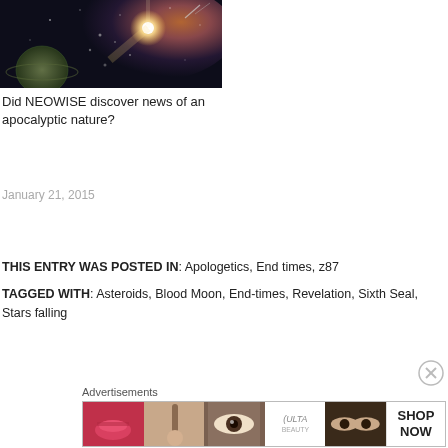[Figure (photo): Space image showing a bright star/comet with planets in a dark cosmic scene]
Did NEOWISE discover news of an apocalyptic nature?
January 21, 2015
THIS ENTRY WAS POSTED IN: Apologetics, End times, z87
TAGGED WITH: Asteroids, Blood Moon, End-times, Revelation, Sixth Seal, Stars falling
[Figure (photo): Ulta Beauty advertisement banner showing makeup and beauty products]
Advertisements